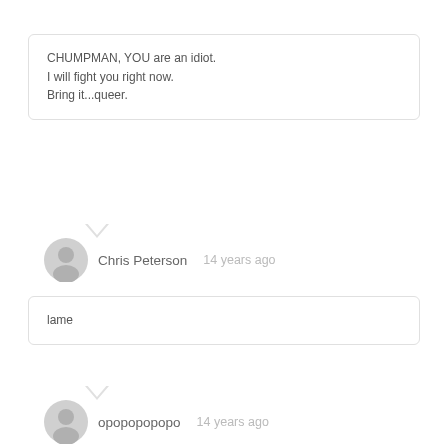CHUMPMAN, YOU are an idiot.
I will fight you right now.
Bring it...queer.
Chris Peterson  14 years ago
lame
opopopopopo  14 years ago
boooooooooooooooring
sasasasasasasasa  14 years ago